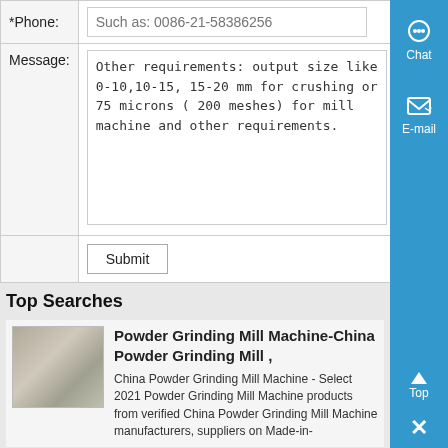| *Phone: | Such as: 0086-21-58386256 |
| Message: | Other requirements: output size like 0-10,10-15, 15-20 mm for crushing or 75 microns ( 200 meshes) for mill machine and other requirements. |
|  | Submit |
Top Searches
[Figure (photo): Thumbnail photo of powder grinding mill machine equipment]
Powder Grinding Mill Machine-China Powder Grinding Mill ,
China Powder Grinding Mill Machine - Select 2021 Powder Grinding Mill Machine products from verified China Powder Grinding Mill Machine manufacturers, suppliers on Made-in-China.
know more